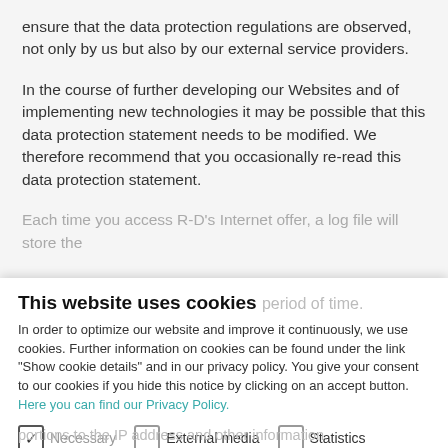ensure that the data protection regulations are observed, not only by us but also by our external service providers.
In the course of further developing our Websites and of implementing new technologies it may be possible that this data protection statement needs to be modified. We therefore recommend that you occasionally re-read this data protection statement.
Each time you access R-D's Internet offer, a log file will store the
This website uses cookies
In order to optimize our website and improve it continuously, we use cookies. Further information on cookies can be found under the link "Show cookie details" and in our privacy policy. You give your consent to our cookies if you hide this notice by clicking on an accept button. Here you can find our Privacy Policy.